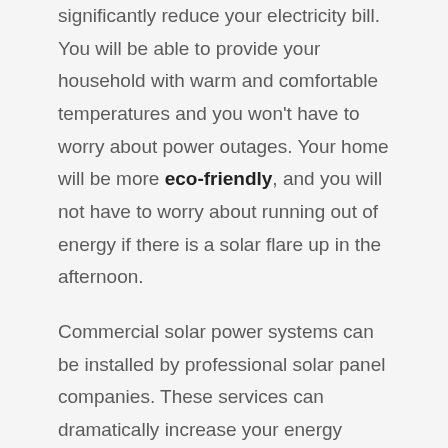significantly reduce your electricity bill. You will be able to provide your household with warm and comfortable temperatures and you won't have to worry about power outages. Your home will be more eco-friendly, and you will not have to worry about running out of energy if there is a solar flare up in the afternoon.
Commercial solar power systems can be installed by professional solar panel companies. These services can dramatically increase your energy savings and improve the operations of your business. Your business can enjoy huge energy savings by using renewable energy. Your business will run more efficiently, and you will also be helping the environment by reducing your energy needs.